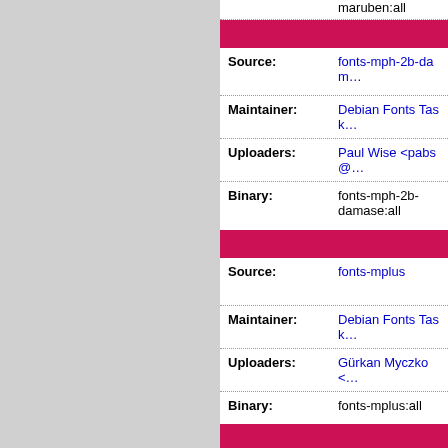|  | maruben:all |
| Source: | fonts-mph-2b-damase |
| Maintainer: | Debian Fonts Task |
| Uploaders: | Paul Wise <pabs@...> |
| Binary: | fonts-mph-2b-damase:all |
| Source: | fonts-mplus |
| Maintainer: | Debian Fonts Task |
| Uploaders: | Gürkan Myczko <...> |
| Binary: | fonts-mplus:all |
| Source: | fonts-nafees |
| Maintainer: | Debian Fonts Task |
| Uploaders: | Christian Perrier <...> |